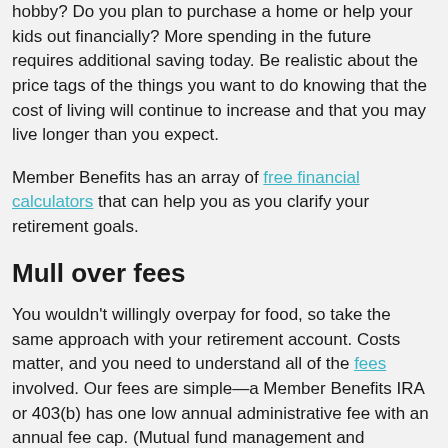hobby? Do you plan to purchase a home or help your kids out financially? More spending in the future requires additional saving today. Be realistic about the price tags of the things you want to do knowing that the cost of living will continue to increase and that you may live longer than you expect.
Member Benefits has an array of free financial calculators that can help you as you clarify your retirement goals.
Mull over fees
You wouldn't willingly overpay for food, so take the same approach with your retirement account. Costs matter, and you need to understand all of the fees involved. Our fees are simple—a Member Benefits IRA or 403(b) has one low annual administrative fee with an annual fee cap. (Mutual fund management and redemption fees apply.)
To make the most of your invested dollar, you want to minimize